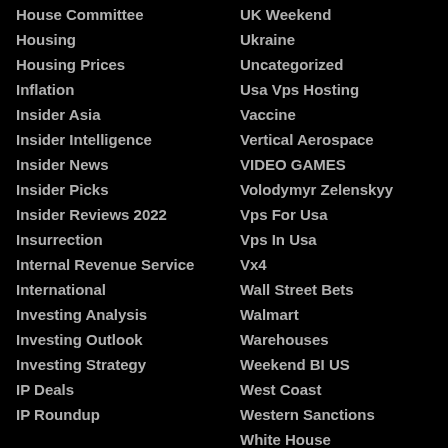House Committee
Housing
Housing Prices
Inflation
Insider Asia
Insider Intelligence
Insider News
Insider Picks
Insider Reviews 2022
Insurrection
Internal Revenue Service
International
Investing Analysis
Investing Outlook
Investing Strategy
IP Deals
IP Roundup
UK Weekend
Ukraine
Uncategorized
Usa Vps Hosting
Vaccine
Vertical Aerospace
VIDEO GAMES
Volodymyr Zelenskyy
Vps For Usa
Vps In Usa
Vx4
Wall Street Bets
Walmart
Warehouses
Weekend BI US
West Coast
Western Sanctions
White House